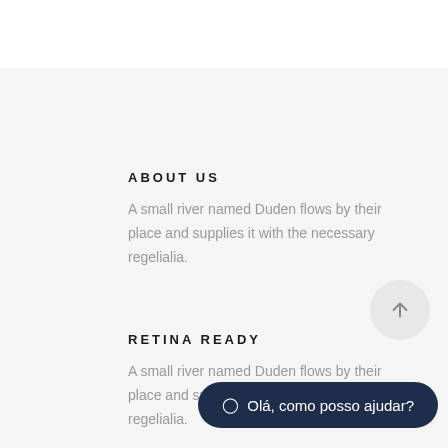ABOUT US
A small river named Duden flows by their place and supplies it with the necessary regelialia.
RETINA READY
A small river named Duden flows by their place and supplies it with the necessary regelialia.